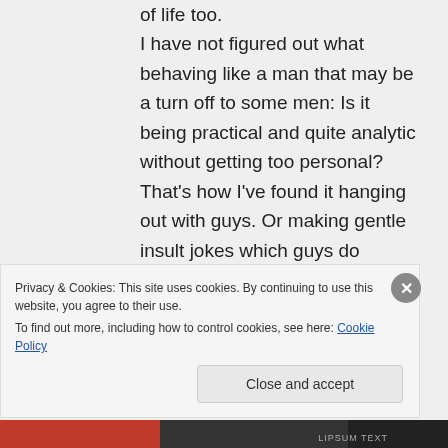of life too. I have not figured out what behaving like a man that may be a turn off to some men: Is it being practical and quite analytic without getting too personal? That's how I've found it hanging out with guys. Or making gentle insult jokes which guys do amongst themselves? But
Privacy & Cookies: This site uses cookies. By continuing to use this website, you agree to their use. To find out more, including how to control cookies, see here: Cookie Policy